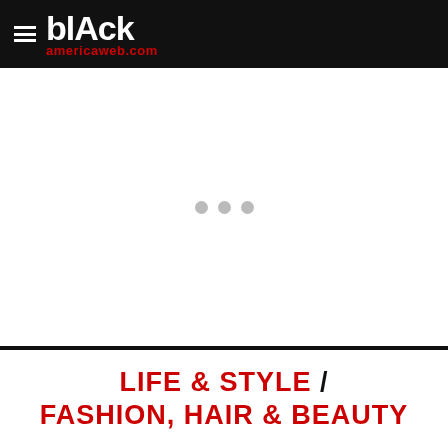blAck americaweb.com
[Figure (other): Advertisement loading area with three grey dots indicator]
LIFE & STYLE / FASHION, HAIR & BEAUTY
[Figure (other): Three grey dots pagination/loading indicator at bottom]